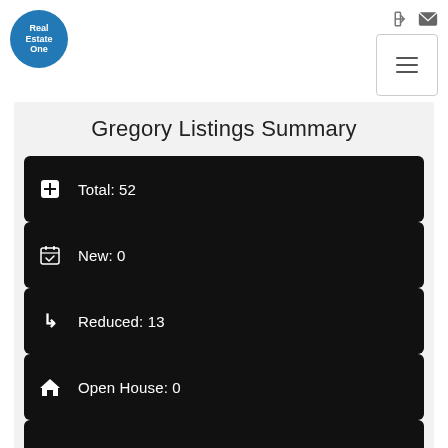[Figure (logo): Real Estate One circular blue logo]
Gregory Listings Summary
Total: 52
New: 0
Reduced: 13
Open House: 0